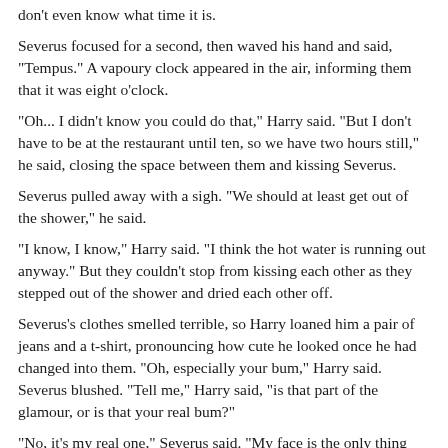don't even know what time it is.
Severus focused for a second, then waved his hand and said, "Tempus." A vapoury clock appeared in the air, informing them that it was eight o'clock.
"Oh... I didn't know you could do that," Harry said. "But I don't have to be at the restaurant until ten, so we have two hours still," he said, closing the space between them and kissing Severus.
Severus pulled away with a sigh. "We should at least get out of the shower," he said.
"I know, I know," Harry said. "I think the hot water is running out anyway." But they couldn't stop from kissing each other as they stepped out of the shower and dried each other off.
Severus's clothes smelled terrible, so Harry loaned him a pair of jeans and a t-shirt, pronouncing how cute he looked once he had changed into them. "Oh, especially your bum," Harry said. Severus blushed. "Tell me," Harry said, "is that part of the glamour, or is that your real bum?"
"No, it's my real one," Severus said. "My face is the only thing different." Severus was feeling quite self-conscious now.